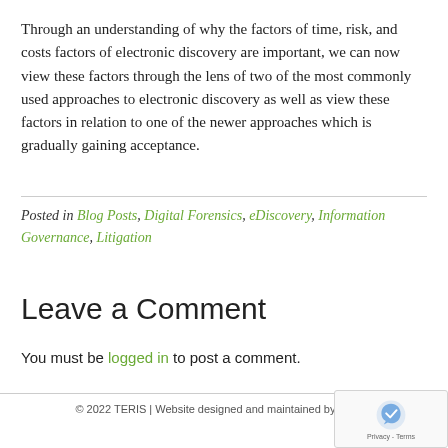Through an understanding of why the factors of time, risk, and costs factors of electronic discovery are important, we can now view these factors through the lens of two of the most commonly used approaches to electronic discovery as well as view these factors in relation to one of the newer approaches which is gradually gaining acceptance.
Posted in Blog Posts, Digital Forensics, eDiscovery, Information Governance, Litigation
Leave a Comment
You must be logged in to post a comment.
© 2022 TERIS | Website designed and maintained by Twelve...